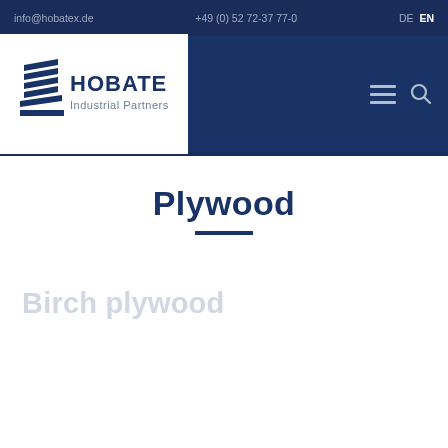info@hobatex.de  +49 (0) 52 72-37 77-0  DE  EN
[Figure (logo): HOBATEX Industrial Partners logo — stacked horizontal lines icon with bold text HOBATEX and subtitle Industrial Partners in navy blue]
Plywood
Birch plywood